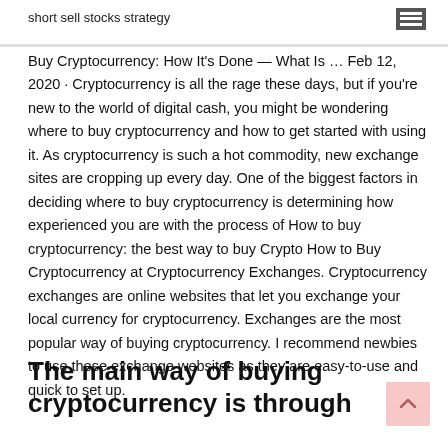short sell stocks strategy
Buy Cryptocurrency: How It's Done — What Is … Feb 12, 2020 · Cryptocurrency is all the rage these days, but if you're new to the world of digital cash, you might be wondering where to buy cryptocurrency and how to get started with using it. As cryptocurrency is such a hot commodity, new exchange sites are cropping up every day. One of the biggest factors in deciding where to buy cryptocurrency is determining how experienced you are with the process of How to buy cryptocurrency: the best way to buy Crypto How to Buy Cryptocurrency at Cryptocurrency Exchanges. Cryptocurrency exchanges are online websites that let you exchange your local currency for cryptocurrency. Exchanges are the most popular way of buying cryptocurrency. I recommend newbies to use these exchange websites as they are easy-to-use and quick to set up.
The main way of buying cryptocurrency is through